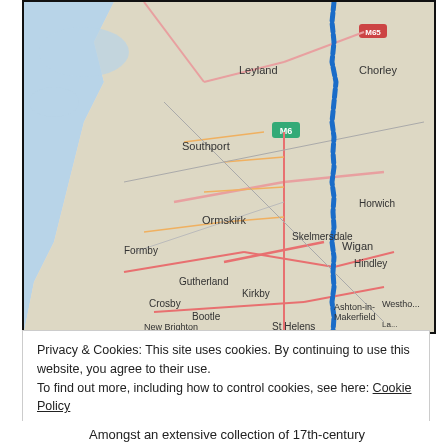[Figure (map): Road map showing northwest England including locations such as Leyland, Chorley, M65, Southport, M6, Horwich, Ormskirk, Skelmersdale, Wigan, Hindley, Formby, Crosby, Kirkby, Ashton-in-Makerfield, Bootle, St Helens, Newton-le-Willows, New Brighton. A blue route traces northward along the right side of the map.]
Privacy & Cookies: This site uses cookies. By continuing to use this website, you agree to their use.
To find out more, including how to control cookies, see here: Cookie Policy
Close and accept
Amongst an extensive collection of 17th-century